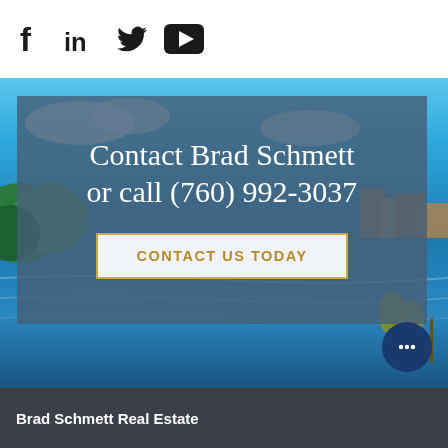[Figure (other): Social media icons: Facebook (f), LinkedIn (in), Twitter (bird), YouTube (play button) in black on white background]
[Figure (photo): Scenic lakeside or riverside photo with blue sky, water, greenery, and mountains/buildings in background used as hero section background]
Contact Brad Schmett or call (760) 992-3037
CONTACT US TODAY
Brad Schmett Real Estate